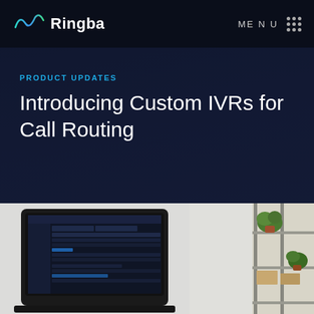Ringba — MENU
PRODUCT UPDATES
Introducing Custom IVRs for Call Routing
[Figure (screenshot): Photo of a laptop showing the Ringba dashboard interface, placed on a desk. To the right is a shelf with plants and boxes in a home/office setting.]